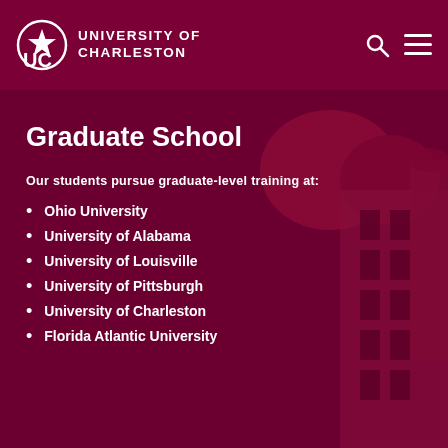UNIVERSITY OF CHARLESTON
Graduate School
Our students pursue graduate-level training at:
Ohio University
University of Alabama
University of Louisville
University of Pittsburgh
University of Charleston
Florida Atlantic University